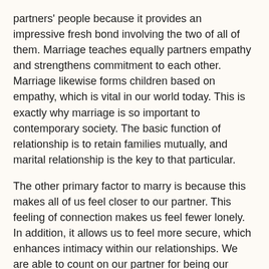partners' people because it provides an impressive fresh bond involving the two of all of them. Marriage teaches equally partners empathy and strengthens commitment to each other. Marriage likewise forms children based on empathy, which is vital in our world today. This is exactly why marriage is so important to contemporary society. The basic function of relationship is to retain families mutually, and marital relationship is the key to that particular.
The other primary factor to marry is because this makes all of us feel closer to our partner. This feeling of connection makes us feel fewer lonely. In addition, it allows us to feel more secure, which enhances intimacy within our relationships. We are able to count on our partner for being our support system, so it makes sense to acquire them committed. When we marry, we have a greater sense of goal in life, which can https://rusbrides.net/russian-mail-order-wife/ business lead us to exercise even more, stop taking in, and work harder.